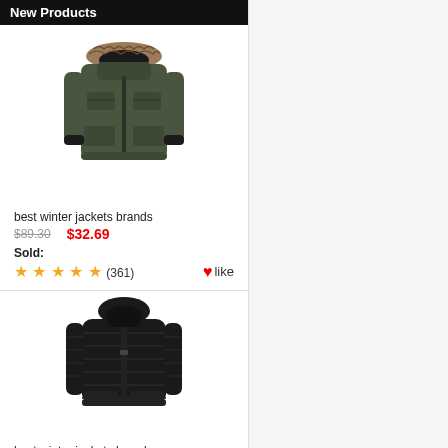New Products
[Figure (photo): Green/olive winter parka jacket with fur-trimmed hood]
best winter jackets brands
$89.30  $32.69  Sold:
★★★★★ (361)  ❤ like
[Figure (photo): Black slim puffer jacket with hood]
best winter jackets brands